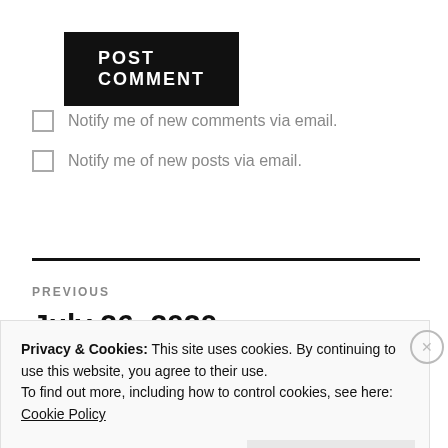POST COMMENT
Notify me of new comments via email.
Notify me of new posts via email.
PREVIOUS
July 26, 2020
Privacy & Cookies: This site uses cookies. By continuing to use this website, you agree to their use.
To find out more, including how to control cookies, see here:
Cookie Policy
Close and accept